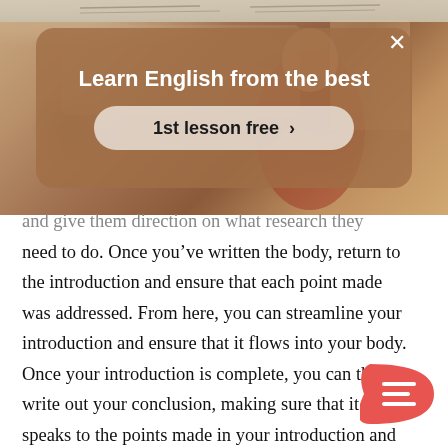[Figure (photo): A blurred background photo of a classroom/teacher scene with warm brown tones and papers/books visible at top. An overlay promotional card reads 'Learn English from the best' with a '1st lesson free >' button and an X close button.]
and give them direction on what research they need to do. Once you've written the body, return to the introduction and ensure that each point made was addressed. From here, you can streamline your introduction and ensure that it flows into your body. Once your introduction is complete, you can th write out your conclusion, making sure that it speaks to the points made in your introduction and